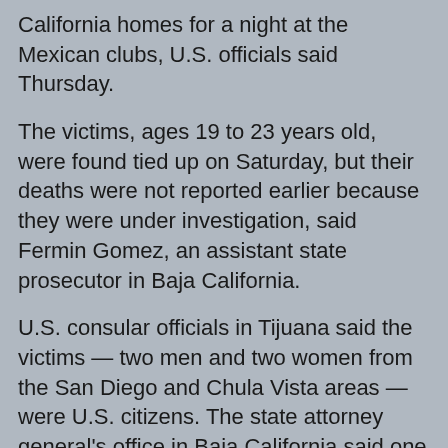California homes for a night at the Mexican clubs, U.S. officials said Thursday.
The victims, ages 19 to 23 years old, were found tied up on Saturday, but their deaths were not reported earlier because they were under investigation, said Fermin Gomez, an assistant state prosecutor in Baja California.
U.S. consular officials in Tijuana said the victims — two men and two women from the San Diego and Chula Vista areas — were U.S. citizens. The state attorney general's office in Baja California said one of the women was Mexican.
Their deaths are the latest in a string of violence in Tijuana that authorities blame on a bloody turf war between drug cartels.
"I just don't think kids should be going to Tijuana right now," Chula Vista police Lt. Scott Arsenault told the San Diego Union-Tribune. "They ran into the wrong people, obviously."
Bernard Gonzales, a spokesman for the Chula Vista Police